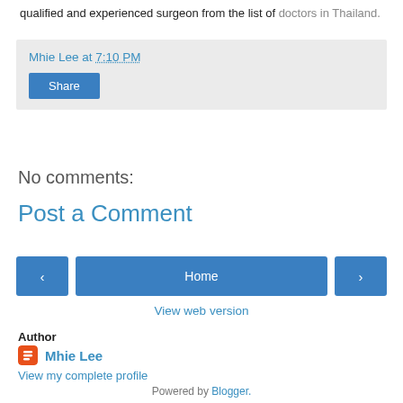qualified and experienced surgeon from the list of doctors in Thailand.
Mhie Lee at 7:10 PM
Share
No comments:
Post a Comment
‹  Home  ›
View web version
Author
Mhie Lee
View my complete profile
Powered by Blogger.